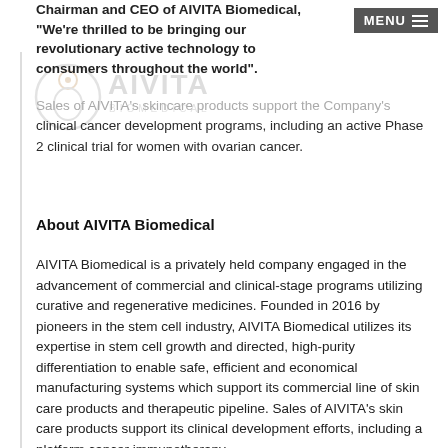Chairman and CEO of AIVITA Biomedical, "We're thrilled to be bringing our revolutionary active technology to consumers throughout the world".
[Figure (logo): AIVITA Biomedical logo — stylized figure/cell icon with AIVITA text and BIOMEDICAL subtitle, shown faded/watermark style]
Sales of AIVITA's skincare products support the Company's clinical cancer development programs, including an active Phase 2 clinical trial for women with ovarian cancer.
About AIVITA Biomedical
AIVITA Biomedical is a privately held company engaged in the advancement of commercial and clinical-stage programs utilizing curative and regenerative medicines. Founded in 2016 by pioneers in the stem cell industry, AIVITA Biomedical utilizes its expertise in stem cell growth and directed, high-purity differentiation to enable safe, efficient and economical manufacturing systems which support its commercial line of skin care products and therapeutic pipeline. Sales of AIVITA's skin care products support its clinical development efforts, including a platform cancer immunotherapy.